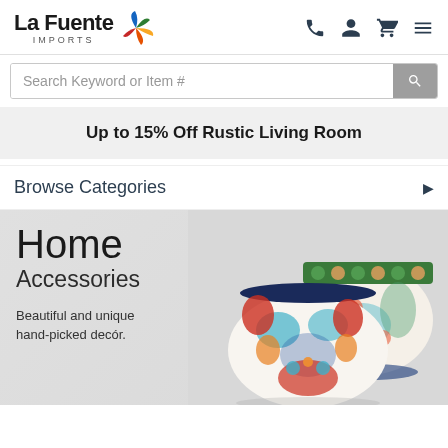La Fuente IMPORTS
Search Keyword or Item #
Up to 15% Off Rustic Living Room
Browse Categories
[Figure (photo): Two colorful hand-painted Mexican Talavera pottery bowls/planters with floral and bird motifs on a light grey background, with text overlay: Home Accessories - Beautiful and unique hand-picked decór.]